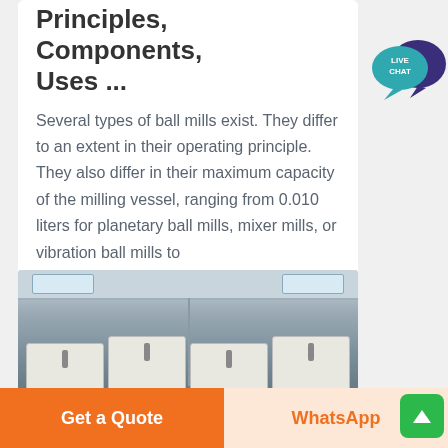Principles, Components, Uses ...
Several types of ball mills exist. They differ to an extent in their operating principle. They also differ in their maximum capacity of the milling vessel, ranging from 0.010 liters for planetary ball mills, mixer mills, or vibration ball mills to
[Figure (photo): Industrial ball mill equipment in a factory setting, showing multiple mill units in a row with columns/supports, viewed from the front in a room with windows near the ceiling.]
Get a Quote
WhatsApp